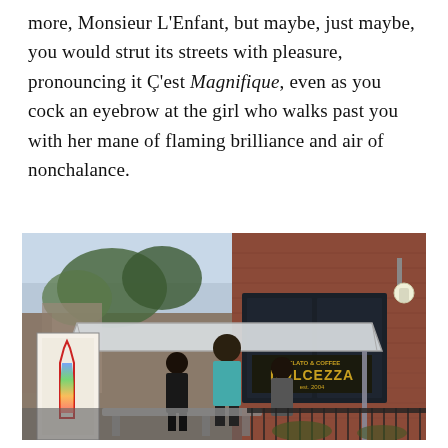more, Monsieur L'Enfant, but maybe, just maybe, you would strut its streets with pleasure, pronouncing it Ç'est Magnifique, even as you cock an eyebrow at the girl who walks past you with her mane of flaming brilliance and air of nonchalance.
[Figure (photo): Street scene photograph showing a bus stop shelter with people standing underneath. In the background, a red brick building with large windows and a sign reading 'DOLCEZZA est. 2004' is visible. An advertisement with a colorful bottle illustration is on the left side of the shelter. Trees and city street visible in the background.]